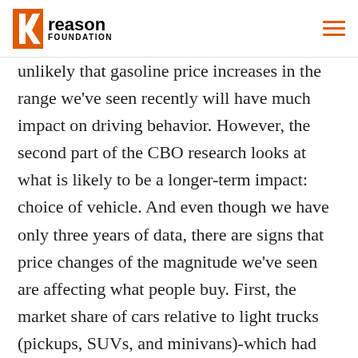Reason Foundation
unlikely that gasoline price increases in the range we've seen recently will have much impact on driving behavior. However, the second part of the CBO research looks at what is likely to be a longer-term impact: choice of vehicle. And even though we have only three years of data, there are signs that price changes of the magnitude we've seen are affecting what people buy. First, the market share of cars relative to light trucks (pickups, SUVs, and minivans)-which had been declining steadily since the early 1980s-turned upward in 2005 and has remained above its 2004 low-point since then. The biggest single change is from vans and minivans to large passenger cars. Second, overall new-vehicle